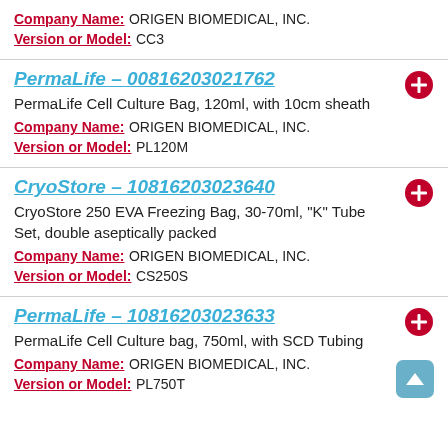Company Name: ORIGEN BIOMEDICAL, INC.
Version or Model: CC3
PermaLife - 00816203021762
PermaLife Cell Culture Bag, 120ml, with 10cm sheath
Company Name: ORIGEN BIOMEDICAL, INC.
Version or Model: PL120M
CryoStore - 10816203023640
CryoStore 250 EVA Freezing Bag, 30-70ml, "K" Tube Set, double aseptically packed
Company Name: ORIGEN BIOMEDICAL, INC.
Version or Model: CS250S
PermaLife - 10816203023633
PermaLife Cell Culture bag, 750ml, with SCD Tubing
Company Name: ORIGEN BIOMEDICAL, INC.
Version or Model: PL750T